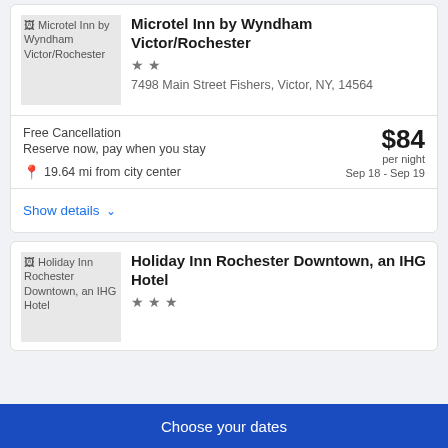[Figure (photo): Thumbnail image placeholder for Microtel Inn by Wyndham Victor/Rochester]
Microtel Inn by Wyndham Victor/Rochester
★ ★
7498 Main Street Fishers, Victor, NY, 14564
Free Cancellation
Reserve now, pay when you stay
19.64 mi from city center
$84 per night
Sep 18 - Sep 19
Show details ∨
[Figure (photo): Thumbnail image placeholder for Holiday Inn Rochester Downtown, an IHG Hotel]
Holiday Inn Rochester Downtown, an IHG Hotel
★ ★ ★
Choose your dates